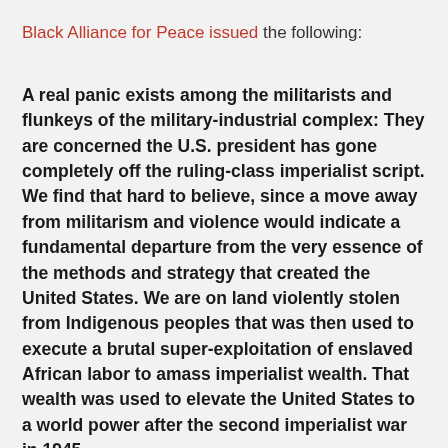Black Alliance for Peace issued the following:
A real panic exists among the militarists and flunkeys of the military-industrial complex: They are concerned the U.S. president has gone completely off the ruling-class imperialist script. We find that hard to believe, since a move away from militarism and violence would indicate a fundamental departure from the very essence of the methods and strategy that created the United States. We are on land violently stolen from Indigenous peoples that was then used to execute a brutal super-exploitation of enslaved African labor to amass imperialist wealth. That wealth was used to elevate the United States to a world power after the second imperialist war in 1945.